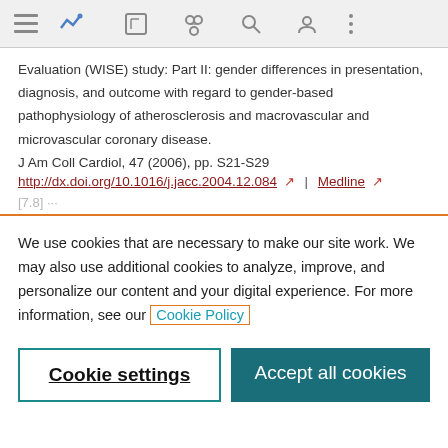[navigation bar with icons]
Evaluation (WISE) study: Part II: gender differences in presentation, diagnosis, and outcome with regard to gender-based pathophysiology of atherosclerosis and macrovascular and microvascular coronary disease.
J Am Coll Cardiol, 47 (2006), pp. S21-S29
http://dx.doi.org/10.1016/j.jacc.2004.12.084 | Medline
We use cookies that are necessary to make our site work. We may also use additional cookies to analyze, improve, and personalize our content and your digital experience. For more information, see our Cookie Policy
Cookie settings
Accept all cookies